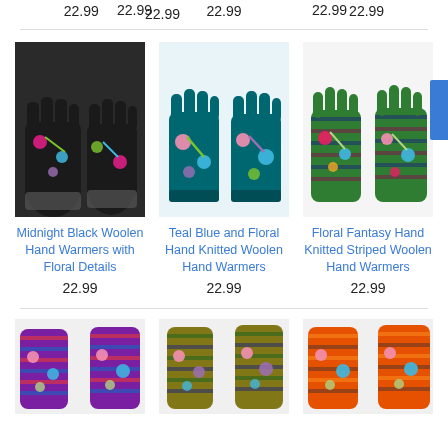22.99
22.99
22.99
[Figure (photo): Black fingerless woolen hand warmers with colorful floral embroidery and pom-pom details on dark background]
Midnight Black Woolen Hand Warmers with Floral Details
22.99
[Figure (photo): Teal blue fingerless woolen hand warmers with pink and blue floral embroidery]
Teal Blue and Floral Hand Knitted Woolen Hand Warmers
22.99
[Figure (photo): Striped multicolor fingerless hand warmers with floral embroidery in green, blue and red]
Floral Fantasy Hand Knitted Striped Woolen Hand Warmers
22.99
[Figure (photo): Purple multicolor striped fingerless hand warmers with floral details]
[Figure (photo): Olive green striped fingerless hand warmers with colorful floral embroidery]
[Figure (photo): Orange and rust multicolor striped hand warmers with floral pom-pom details]